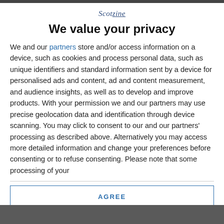Scotzine
We value your privacy
We and our partners store and/or access information on a device, such as cookies and process personal data, such as unique identifiers and standard information sent by a device for personalised ads and content, ad and content measurement, and audience insights, as well as to develop and improve products. With your permission we and our partners may use precise geolocation data and identification through device scanning. You may click to consent to our and our partners' processing as described above. Alternatively you may access more detailed information and change your preferences before consenting or to refuse consenting. Please note that some processing of your
AGREE
MORE OPTIONS